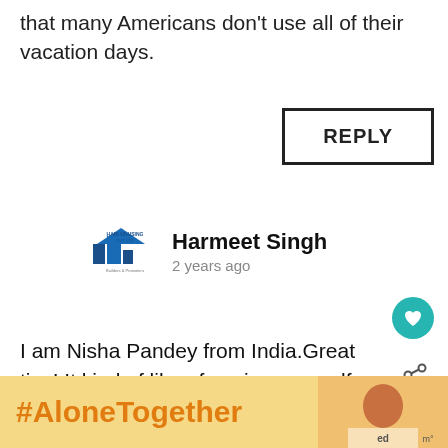that many Americans don't use all of their vacation days.
REPLY
Harmeet Singh
2 years ago
I am Nisha Pandey from India.Great tips! It kind of like of paying yourself first that you save for retirement. In this case, about taking care of your emotional and
[Figure (infographic): WHAT'S NEXT arrow label with Cambodia Travel Guide text and thumbnail image]
[Figure (infographic): #AloneTogether advertisement banner with orange hashtag text on yellow background and ad image on the right]